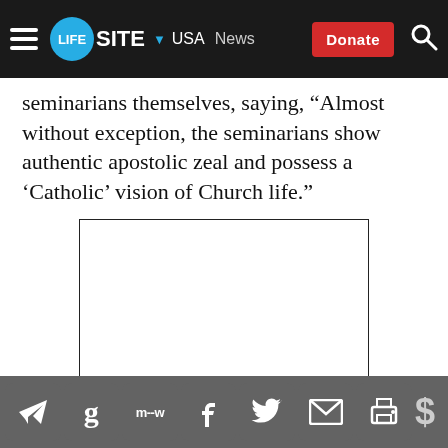LifeSite — USA | News | Donate
seminarians themselves, saying, “Almost without exception, the seminarians show authentic apostolic zeal and possess a ‘Catholic’ vision of Church life.”
[Figure (other): Empty white advertisement placeholder box with black border]
Social sharing icons: Telegram, Goodreads, MeWe, Facebook, Twitter, Email, Print | Donate ($)